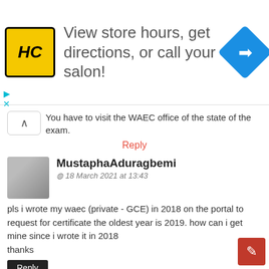[Figure (screenshot): Advertisement banner for HC salon with logo, text 'View store hours, get directions, or call your salon!', and a blue navigation icon]
You have to visit the WAEC office of the state of the exam.
Reply
MustaphaAduragbemi
18 March 2021 at 13:43
pls i wrote my waec (private - GCE) in 2018 on the portal to request for certificate the oldest year is 2019. how can i get mine since i wrote it in 2018
thanks
Reply
Replies
Tolani Mr. Techie
18 March 2021 at 14:11
For any year before 2019, you have to visit t